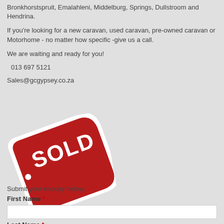Bronkhorstspruit, Emalahleni, Middelburg, Springs, Dullstroom and Hendrina.
If you're looking for a new caravan, used caravan, pre-owned caravan or Motorhome - no matter how specific -give us a call.
We are waiting and ready for you!
013 697 5121
Sales@gcgypsey.co.za
[Figure (illustration): A red price-tag shaped 'SOLD' sign with white text and white border, rotated slightly counter-clockwise]
Submit your enquiry below:
First Name *
Last Name *